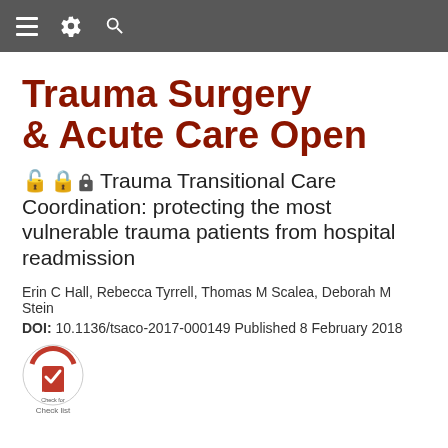[ menu ] [ settings ] [ search ]
Trauma Surgery & Acute Care Open
Trauma Transitional Care Coordination: protecting the most vulnerable trauma patients from hospital readmission
Erin C Hall, Rebecca Tyrrell, Thomas M Scalea, Deborah M Stein
DOI: 10.1136/tsaco-2017-000149 Published 8 February 2018
[Figure (logo): Check for updates / Check list badge logo]